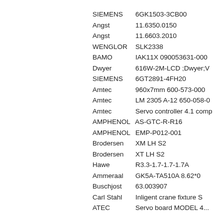SIEMENS    6GK1503-3CB00
Angst    11.6350.0150
Angst    11.6603.2010
WENGLOR    SLK2338
BAMO    IAK11X 090053631-000
Dwyer    616W-2M-LCD ;Dwyer;V
SIEMENS    6GT2891-4FH20
Amtec    960x7mm 600-573-000
Amtec    LM 2305 A-12 650-058-0
Amtec    Servo controller 4.1 comp
AMPHENOL    AS-GTC-R-R16
AMPHENOL    EMP-P012-001
Brodersen    XM LH S2
Brodersen    XT LH S2
Hawe    R3.3-1.7-1.7-1.7A
Ammeraal    GK5A-TA510A 8.62*0
Buschjost    63.003907
Carl Stahl    Inligent crane fixture S
ATEC    ...    MODEL 4...